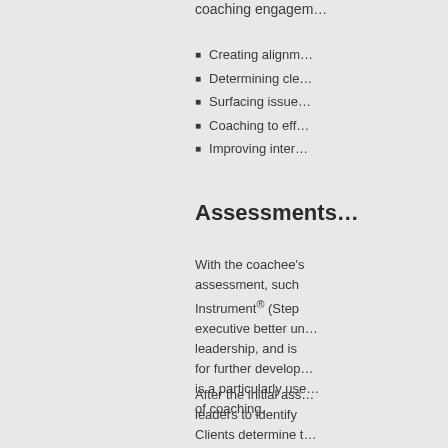coaching engagem...
Creating alignm...
Determining cle...
Surfacing issue...
Coaching to eff...
Improving inter...
Assessments
With the coachee's assessment, such Instrument® (Step executive better un leadership, and is for further develop is a particularly use of coaching.
After the initial ass leaders to identify Clients determine t those areas.